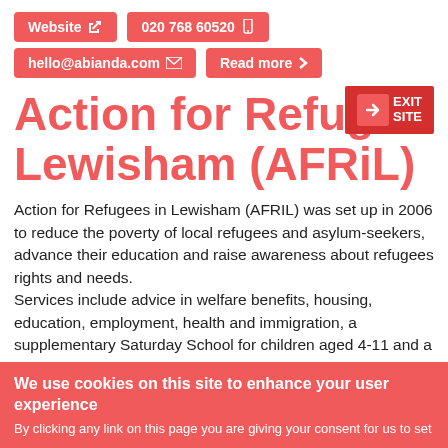Website   020 768 60520
hello@abianda.com   Read more
Action for Refugees in Lewisham (AFRiL)
[Figure (other): EXIT SITE badge with arrow icon]
Action for Refugees in Lewisham (AFRIL) was set up in 2006 to reduce the poverty of local refugees and asylum-seekers, advance their education and raise awareness about refugees rights and needs.
Services include advice in welfare benefits, housing, education, employment, health and immigration, a supplementary Saturday School for children aged 4-11 and a foodbank for destitute
We use cookies on this site to enhance your user experience
By clicking any link on this page you are giving your consent for us to set